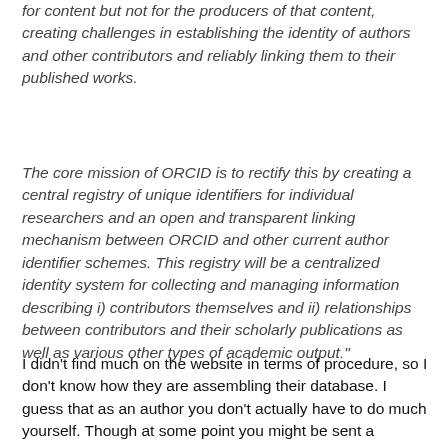for content but not for the producers of that content, creating challenges in establishing the identity of authors and other contributors and reliably linking them to their published works.
The core mission of ORCID is to rectify this by creating a central registry of unique identifiers for individual researchers and an open and transparent linking mechanism between ORCID and other current author identifier schemes. This registry will be a centralized identity system for collecting and managing information describing i) contributors themselves and ii) relationships between contributors and their scholarly publications as well as various other types of academic output."
I didn't find much on the website in terms of procedure, so I don't know how they are assembling their database. I guess that as an author you don't actually have to do much yourself. Though at some point you might be sent a notification asking you to have a look at your data and check if the content is about that you'd be sure. The data...